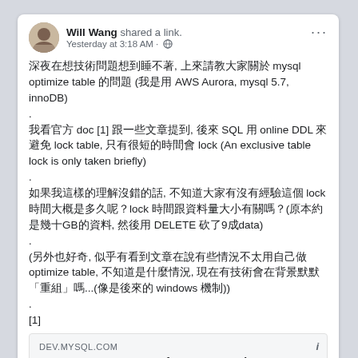Will Wang shared a link. Yesterday at 3:18 AM
深夜在想技術問題想到睡不著, 上來請教大家關於 mysql optimize table 的問題 (我是用 AWS Aurora, mysql 5.7, innoDB)
.
我看官方 doc [1] 跟一些文章提到, 後來 SQL 用 online DDL 來避免 lock table, 只有很短的時間會 lock (An exclusive table lock is only taken briefly)
.
如果我這樣的理解沒錯的話, 不知道大家有沒有經驗這個 lock 時間大概是多久呢？lock 時間跟資料量大小有關嗎？(原本約是幾十GB的資料, 然後用 DELETE 砍了9成data)
.
(另外也好奇, 似乎有看到文章在說有些情況不太用自己做 optimize table, 不知道是什麼情況, 現在有技術會在背景默默「重組」嗎...(像是後來的 windows 機制))
.
[1]
[Figure (screenshot): Link preview for DEV.MYSQL.COM: MySQL :: MySQL 5.7 Reference Manual :: 13.7.2.4 OPTIMIZE TABLE Statement]
24  1 Comment
Like  Comment  Share